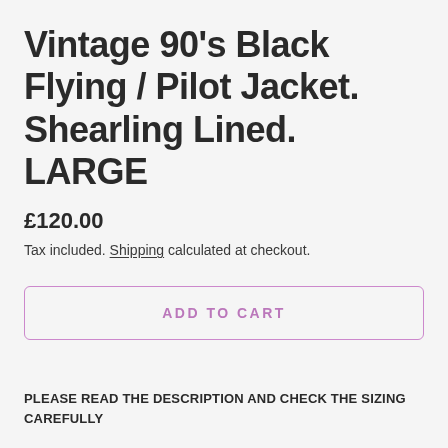Vintage 90's Black Flying / Pilot Jacket. Shearling Lined. LARGE
£120.00
Tax included. Shipping calculated at checkout.
ADD TO CART
PLEASE READ THE DESCRIPTION AND CHECK THE SIZING CAREFULLY